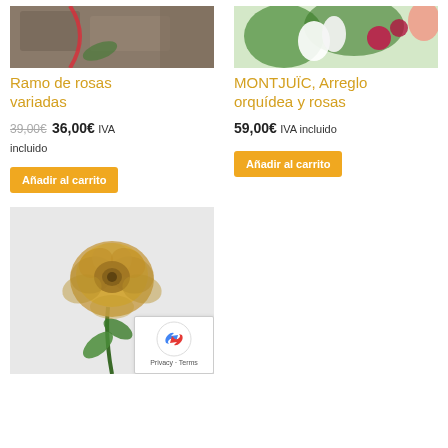[Figure (photo): Photo of a bouquet of mixed roses with ribbon, partially visible at top of left column]
Ramo de rosas variadas
39,00€ 36,00€ IVA incluido
Añadir al carrito
[Figure (photo): Photo of an orchid and roses floral arrangement, partially visible at top of right column]
MONTJUÏC, Arreglo orquídea y rosas
59,00€ IVA incluido
Añadir al carrito
[Figure (photo): Photo of a single golden rose with green stem and leaves on light grey background]
[Figure (other): reCAPTCHA privacy badge with Privacy and Terms links]